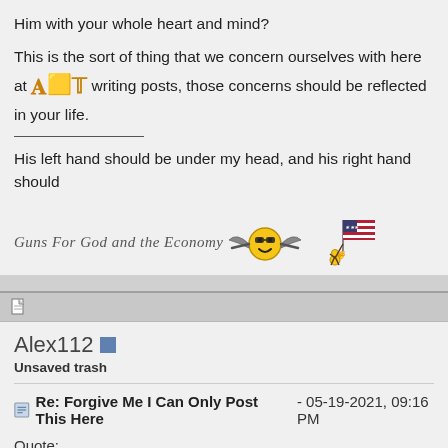Him with your whole heart and mind?
This is the sort of thing that we concern ourselves with here at [site icon] writing posts, those concerns should be reflected in your life.
His left hand should be under my head, and his right hand should
Guns For God and the Economy [emoji icons]
[post icon] Alex112 [badge] Unsaved trash
Re: Forgive Me I Can Only Post This Here - 05-19-2021, 09:16 PM
Quote:
Originally Posted by handmaiden [icon] Alex, if you need exercise there are plenty of Bible-approved